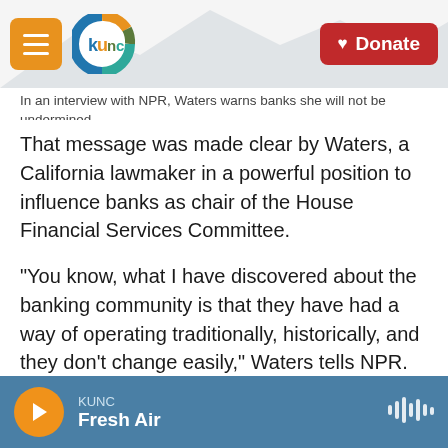KUNC — Donate
In an interview with NPR, Waters warns banks she will not be undermined.
That message was made clear by Waters, a California lawmaker in a powerful position to influence banks as chair of the House Financial Services Committee.
"You know, what I have discovered about the banking community is that they have had a way of operating traditionally, historically, and they don't change easily," Waters tells NPR.
But Waters adds she will still demand changes on Wall Street.
KUNC Fresh Air